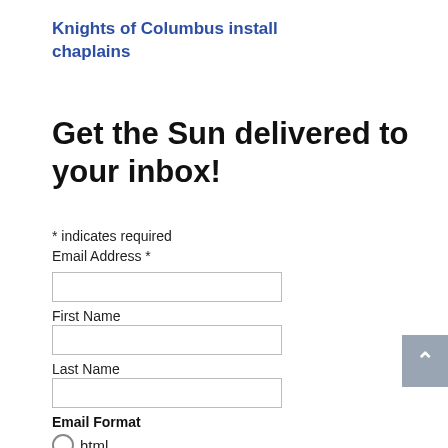Knights of Columbus install chaplains
Get the Sun delivered to your inbox!
* indicates required
Email Address *
First Name
Last Name
Email Format
html
text
Subscribe